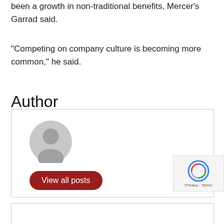been a growth in non-traditional benefits, Mercer's Garrad said.
“Competing on company culture is becoming more common,” he said.
Author
[Figure (illustration): Author box with a grey placeholder avatar icon and a red 'View all posts' button]
[Figure (other): reCAPTCHA privacy badge with spinning icon and Privacy-Terms text]